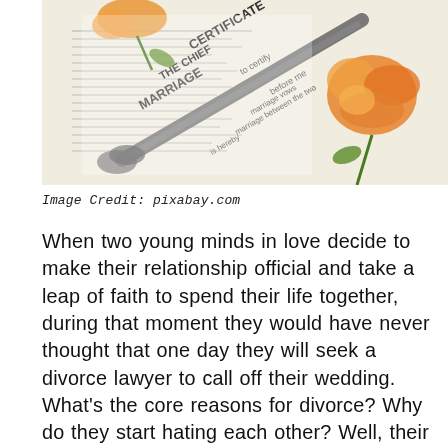[Figure (photo): A marriage certificate being cut by scissors with an orange rose on top, symbolizing divorce.]
Image Credit: pixabay.com
When two young minds in love decide to make their relationship official and take a leap of faith to spend their life together, during that moment they would have never thought that one day they will seek a divorce lawyer to call off their wedding. What's the core reasons for divorce? Why do they start hating each other? Well, their relationship begins to turmoil when they start to misjudge and misunderstand each other, later, calling it a quit...